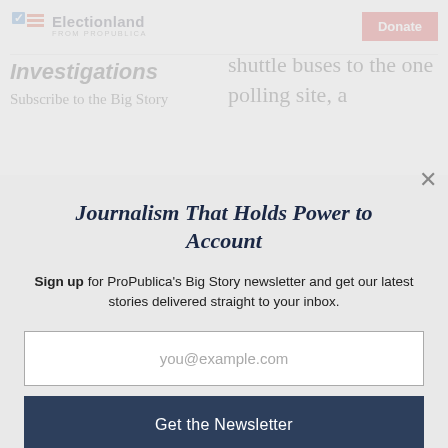Electionland from ProPublica | Donate
Investigations
Subscribe to the Big Story
shuttle buses to the one polling site, a
Journalism That Holds Power to Account
Sign up for ProPublica's Big Story newsletter and get our latest stories delivered straight to your inbox.
you@example.com
Get the Newsletter
No thanks, I'm all set
This site is protected by reCAPTCHA and the Google Privacy Policy and Terms of Service apply.